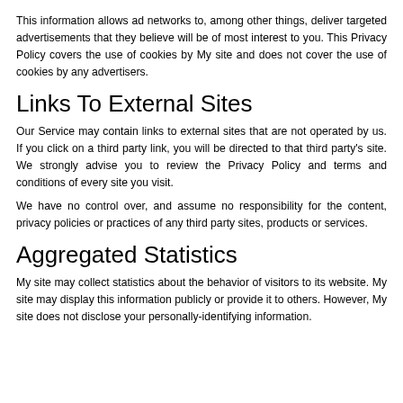This information allows ad networks to, among other things, deliver targeted advertisements that they believe will be of most interest to you. This Privacy Policy covers the use of cookies by My site and does not cover the use of cookies by any advertisers.
Links To External Sites
Our Service may contain links to external sites that are not operated by us. If you click on a third party link, you will be directed to that third party's site. We strongly advise you to review the Privacy Policy and terms and conditions of every site you visit.
We have no control over, and assume no responsibility for the content, privacy policies or practices of any third party sites, products or services.
Aggregated Statistics
My site may collect statistics about the behavior of visitors to its website. My site may display this information publicly or provide it to others. However, My site does not disclose your personally-identifying information.